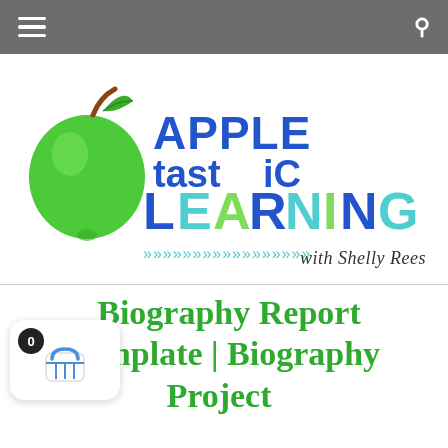Navigation bar with hamburger menu and search icon
[Figure (logo): Appletastic Learning with Shelly Rees logo: green apple illustration on left, colorful text 'APPLEtastiC LEARNING' with chevron arrows and cursive 'with Shelly Rees']
Biography Report Template | Biography Project